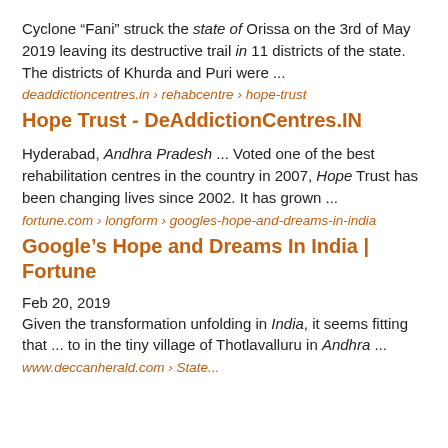Cyclone “Fani” struck the state of Orissa on the 3rd of May 2019 leaving its destructive trail in 11 districts of the state. The districts of Khurda and Puri were ...
deaddictioncentres.in › rehabcentre › hope-trust
Hope Trust - DeAddictionCentres.IN
Hyderabad, Andhra Pradesh ... Voted one of the best rehabilitation centres in the country in 2007, Hope Trust has been changing lives since 2002. It has grown ...
fortune.com › longform › googles-hope-and-dreams-in-india
Google’s Hope and Dreams In India | Fortune
Feb 20, 2019
Given the transformation unfolding in India, it seems fitting that ... to in the tiny village of Thotlavalluru in Andhra ...
www.deccanherald.com › State...